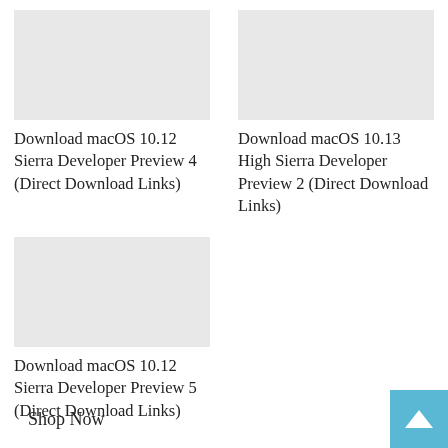[Figure (photo): Placeholder image for macOS 10.12 Sierra Developer Preview 4 article, top-left]
Download macOS 10.12 Sierra Developer Preview 4 (Direct Download Links)
[Figure (photo): Placeholder image for macOS 10.13 High Sierra Developer Preview 2 article, top-right]
Download macOS 10.13 High Sierra Developer Preview 2 (Direct Download Links)
[Figure (photo): Placeholder image for macOS 10.12 Sierra Developer Preview 5 article, bottom-left]
Download macOS 10.12 Sierra Developer Preview 5 (Direct Download Links)
Shop Now